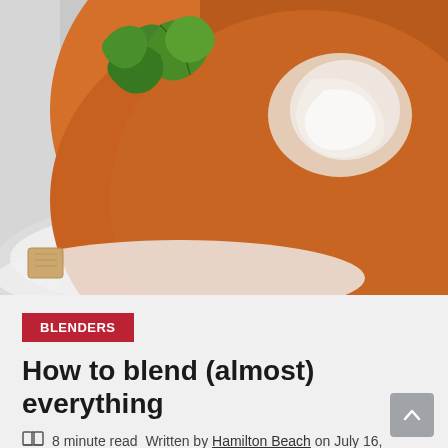[Figure (photo): Close-up photo of a bowl of orange/red blended tomato soup with a white cream swirl on top, garnished with fresh green basil leaves. A cracker or bread is partially visible at the bottom left. The bowl is white on a light grey surface.]
BLENDERS
How to blend (almost) everything
8 minute read Written by Hamilton Beach on July 16,